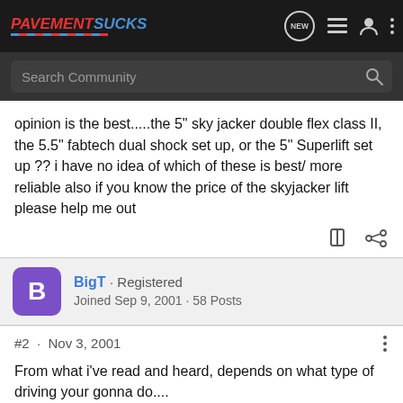PavementSucks
opinion is the best.....the 5" sky jacker double flex class II, the 5.5" fabtech dual shock set up, or the 5" Superlift set up ?? i have no idea of which of these is best/ more reliable also if you know the price of the skyjacker lift please help me out
BigT · Registered
Joined Sep 9, 2001 · 58 Posts
#2 · Nov 3, 2001
From what i've read and heard, depends on what type of driving your gonna do....